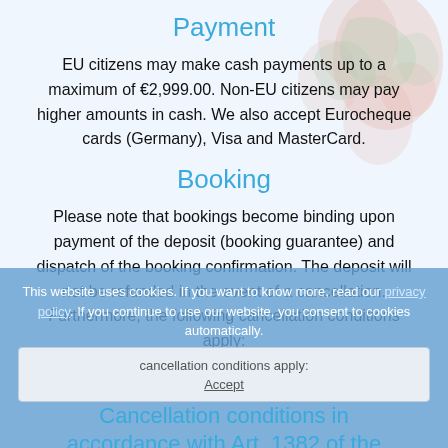Payment
EU citizens may make cash payments up to a maximum of €2,999.00. Non-EU citizens may pay higher amounts in cash. We also accept Eurocheque cards (Germany), Visa and MasterCard.
Booking
Please note that bookings become binding upon payment of the deposit (booking guarantee) and dispatch of the booking confirmation. The deposit will not be refunded in the event of a cancellation. Furthermore, the following cancellation conditions apply:
This website uses cookies. If you want to know more, read our privacy policy. If you continue to use our website, you consent to cookies automatically.
Accept
Cancellation conditions in accordance with Art. 1382 of the